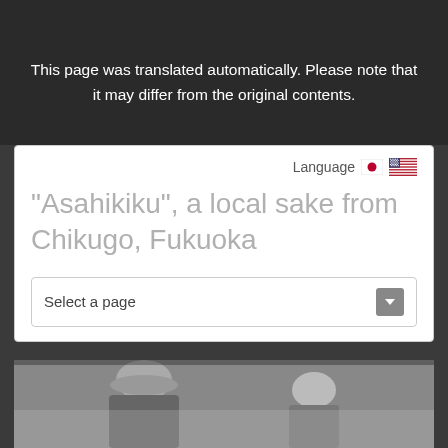This page was translated automatically. Please note that it may differ from the original contents.
"Asahikiku", a local sake from Chikugo, Fukuoka
Select a page
[Figure (photo): Black and white photo of a person wearing a cap and work clothes, leaning forward, with another person visible in the background. Scene appears to be an industrial or agricultural setting.]